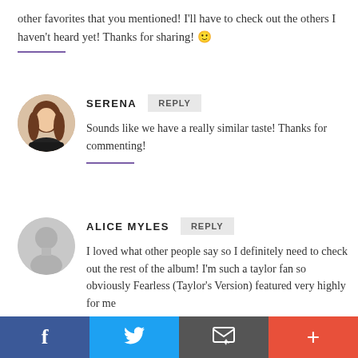other favorites that you mentioned! I'll have to check out the others I haven't heard yet! Thanks for sharing! 🙂
SERENA
REPLY
Sounds like we have a really similar taste! Thanks for commenting!
ALICE MYLES
REPLY
I loved what other people say so I definitely need to check out the rest of the album! I'm such a taylor fan so obviously Fearless (Taylor's Version) featured very highly for me
f | Twitter | email | +